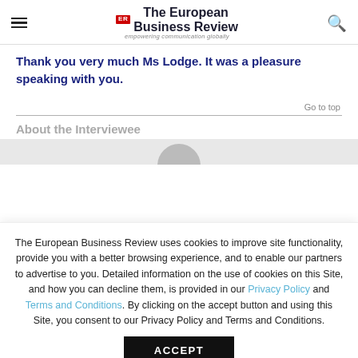ER The European Business Review — empowering communication globally
Thank you very much Ms Lodge. It was a pleasure speaking with you.
Go to top
About the Interviewee
[Figure (photo): Partial view of interviewee photo (cropped circle at bottom of visible area)]
The European Business Review uses cookies to improve site functionality, provide you with a better browsing experience, and to enable our partners to advertise to you. Detailed information on the use of cookies on this Site, and how you can decline them, is provided in our Privacy Policy and Terms and Conditions. By clicking on the accept button and using this Site, you consent to our Privacy Policy and Terms and Conditions.
ACCEPT